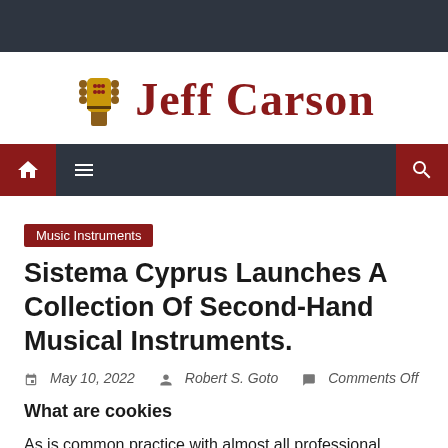Jeff Carson
[Figure (logo): Jeff Carson website logo with guitar headstock icon and site name in dark red serif font]
[Figure (screenshot): Navigation bar with home icon, hamburger menu, and search icon on dark background]
Music Instruments
Sistema Cyprus Launches A Collection Of Second-Hand Musical Instruments.
May 10, 2022  Robert S. Goto  Comments Off
What are cookies
As is common practice with almost all professional websites, https://cyprus-mail.com (our "To place") uses cookies,